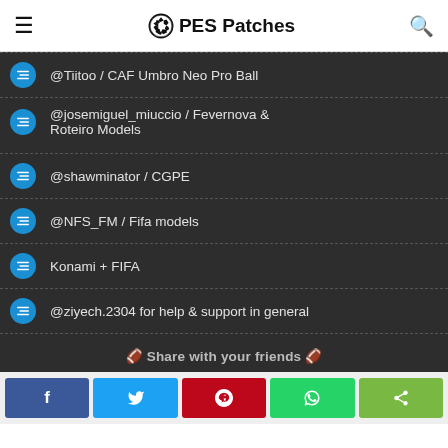PES Patches
@Tiitoo / CAF Umbro Neo Pro Ball
@josemiguel_miuccio / Fevernova & Roteiro Models
@shawminator / CGPE
@NFS_FM / Fifa models
Konami + FIFA
@ziyech.2304 for help & support in general
🏆 Share with your friends 🏆
[Figure (screenshot): Social share buttons: Facebook, Twitter, Pinterest, WhatsApp, Share]